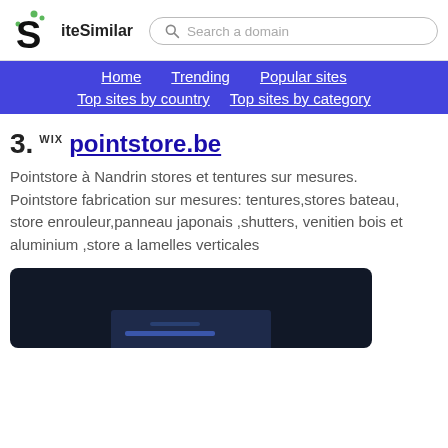SiteSimilar — Search a domain
Home | Trending | Popular sites | Top sites by country | Top sites by category
03. WIX pointstore.be
Pointstore à Nandrin stores et tentures sur mesures.
Pointstore fabrication sur mesures: tentures,stores bateau, store enrouleur,panneau japonais ,shutters, venitien bois et aluminium ,store a lamelles verticales
[Figure (screenshot): Screenshot of pointstore.be website, dark background]